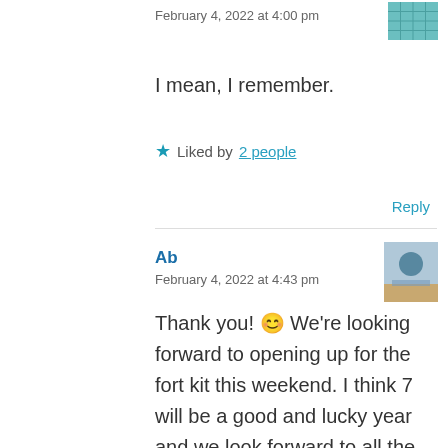February 4, 2022 at 4:00 pm
I mean, I remember.
★ Liked by 2 people
Reply
Ab
February 4, 2022 at 4:43 pm
Thank you! 😊 We're looking forward to opening up for the fort kit this weekend. I think 7 will be a good and lucky year and we look forward to all the fun that lies ahead. You are right – childhood is rare and flies by so so fast. 🙏 Enjoy your weekend as well. Hope your February vacation is